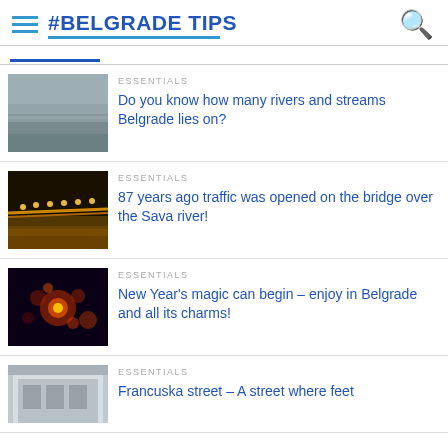#BELGRADE TIPS
ESSENTIALS
Do you know how many rivers and streams Belgrade lies on?
[Figure (photo): Misty river view of Belgrade]
ESSENTIALS
87 years ago traffic was opened on the bridge over the Sava river!
[Figure (photo): Illuminated bridge over river at night with golden reflections]
ESSENTIALS
New Year's magic can begin – enjoy in Belgrade and all its charms!
[Figure (photo): Fireworks celebration]
ESSENTIALS
Francuska street – A street where feet
[Figure (photo): Classical building facade on Francuska street]